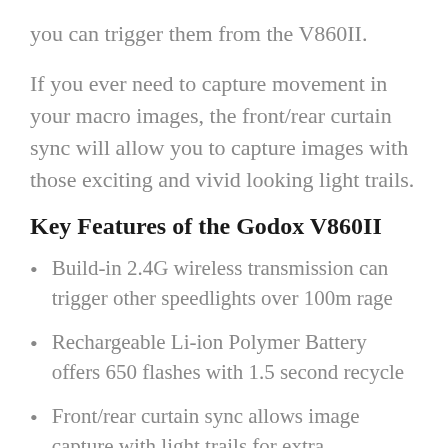you can trigger them from the V860II.
If you ever need to capture movement in your macro images, the front/rear curtain sync will allow you to capture images with those exciting and vivid looking light trails.
Key Features of the Godox V860II
Build-in 2.4G wireless transmission can trigger other speedlights over 100m rage
Rechargeable Li-ion Polymer Battery offers 650 flashes with 1.5 second recycle
Front/rear curtain sync allows image capture with light trails for extra excitement.